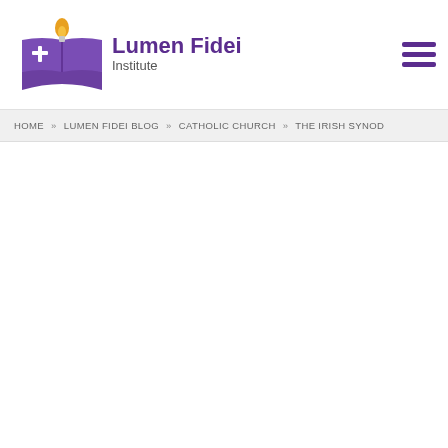Lumen Fidei Institute
HOME » LUMEN FIDEI BLOG » CATHOLIC CHURCH » THE IRISH SYNOD